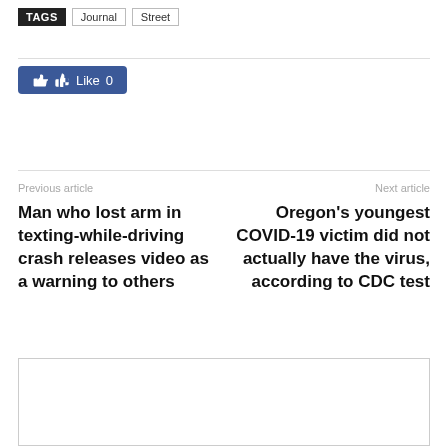TAGS  Journal  Street
[Figure (other): Facebook Like button showing thumbs up icon and Like 0]
Previous article
Man who lost arm in texting-while-driving crash releases video as a warning to others
Next article
Oregon's youngest COVID-19 victim did not actually have the virus, according to CDC test